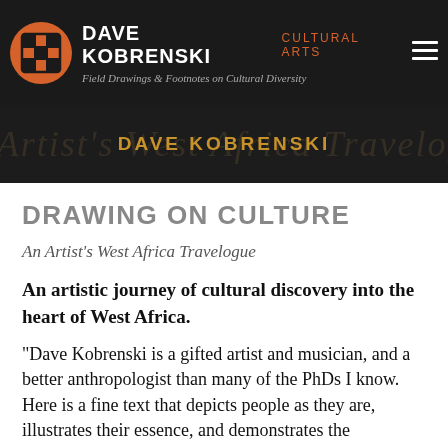DAVE KOBRENSKI CULTURAL ARTS — Field Drawings & Footnotes on Cultural Diversity
[Figure (photo): Dark banner image with artist name 'DAVE KOBRENSKI' in gold uppercase letters, with faint background imagery]
DRAWING ON CULTURE
An Artist's West Africa Travelogue
An artistic journey of cultural discovery into the heart of West Africa.
“Dave Kobrenski is a gifted artist and musician, and a better anthropologist than many of the PhDs I know. Here is a fine text that depicts people as they are, illustrates their essence, and demonstrates the importance of appreciating, without